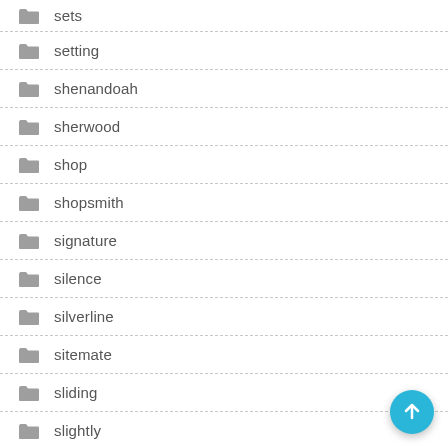sets
setting
shenandoah
sherwood
shop
shopsmith
signature
silence
silverline
sitemate
sliding
slightly
slipfence